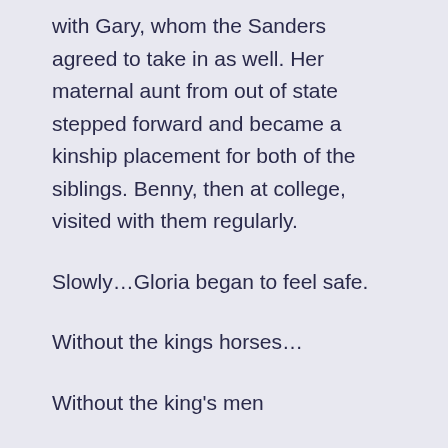with Gary, whom the Sanders agreed to take in as well. Her maternal aunt from out of state stepped forward and became a kinship placement for both of the siblings. Benny, then at college, visited with them regularly.
Slowly…Gloria began to feel safe.
Without the kings horses…
Without the king's men
But with patience, love, and therapy